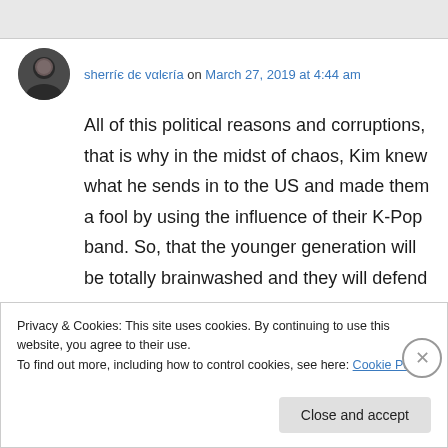sherríє dє vαlєría on March 27, 2019 at 4:44 am
All of this political reasons and corruptions, that is why in the midst of chaos, Kim knew what he sends in to the US and made them a fool by using the influence of their K-Pop band. So, that the younger generation will be totally brainwashed and they will defend the arts more than they will supports their leaders. All are
Privacy & Cookies: This site uses cookies. By continuing to use this website, you agree to their use.
To find out more, including how to control cookies, see here: Cookie Policy